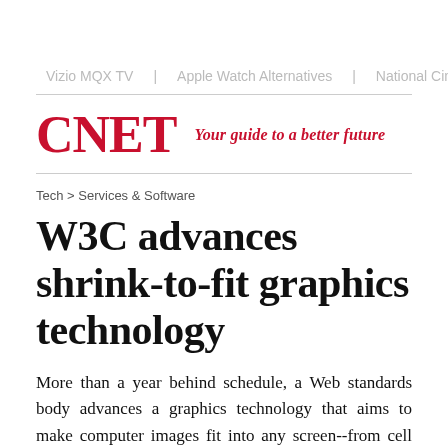Vizio MQX TV  |  Apple Watch Alternatives  |  National Cinema Day  |  Be…
CNET — Your guide to a better future
Tech > Services & Software
W3C advances shrink-to-fit graphics technology
More than a year behind schedule, a Web standards body advances a graphics technology that aims to make computer images fit into any screen--from cell phone displays to large monitors.